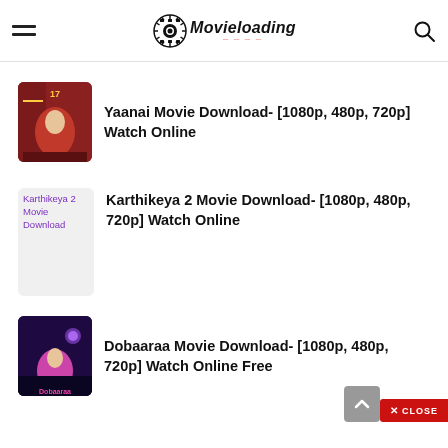Movieloading
Yaanai Movie Download- [1080p, 480p, 720p] Watch Online
Karthikeya 2 Movie Download- [1080p, 480p, 720p] Watch Online
Dobaaraa Movie Download- [1080p, 480p, 720p] Watch Online Free